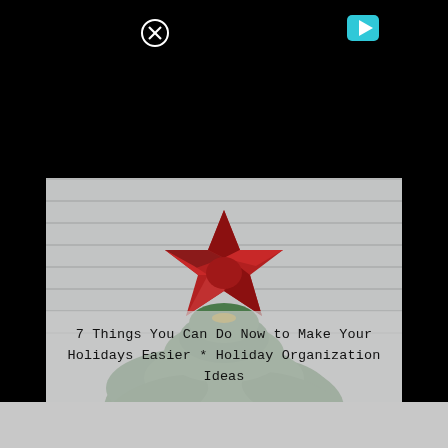[Figure (screenshot): Black top bar with a close icon (circled X) on the left and a play button icon (triangle in rounded rectangle) on the top right]
[Figure (photo): Photograph of a red fabric star Christmas tree topper placed atop an evergreen/pine Christmas tree, with bokeh lights visible in the background, against a grey horizontal siding wall]
7 Things You Can Do Now to Make Your Holidays Easier * Holiday Organization Ideas